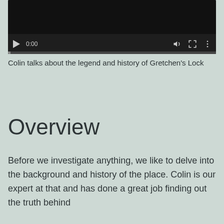[Figure (screenshot): Video player UI with dark background, play button, time display showing 0:00, volume icon, fullscreen icon, and more options icon, with a progress bar at the bottom]
Colin talks about the legend and history of Gretchen's Lock
Overview
Before we investigate anything, we like to delve into the background and history of the place. Colin is our expert at that and has done a great job finding out the truth behind